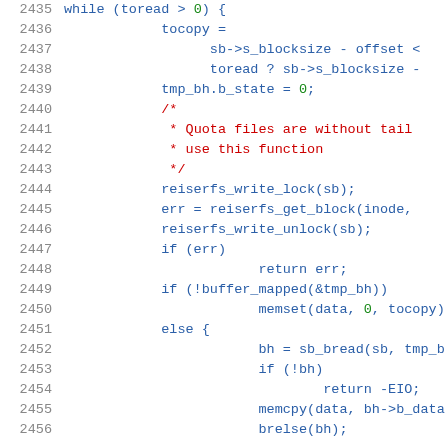Source code listing lines 2435-2456, C programming language, reiserfs filesystem code
2435    while (toread > 0) {
2436        tocopy =
2437            sb->s_blocksize - offset <
2438            toread ? sb->s_blocksize -
2439        tmp_bh.b_state = 0;
2440        /*
2441         * Quota files are without tail
2442         * use this function
2443         */
2444        reiserfs_write_lock(sb);
2445        err = reiserfs_get_block(inode,
2446        reiserfs_write_unlock(sb);
2447        if (err)
2448                return err;
2449        if (!buffer_mapped(&tmp_bh))
2450                memset(data, 0, tocopy)
2451        else {
2452                bh = sb_bread(sb, tmp_b
2453                if (!bh)
2454                        return -EIO;
2455                memcpy(data, bh->b_data
2456                brelse(bh);